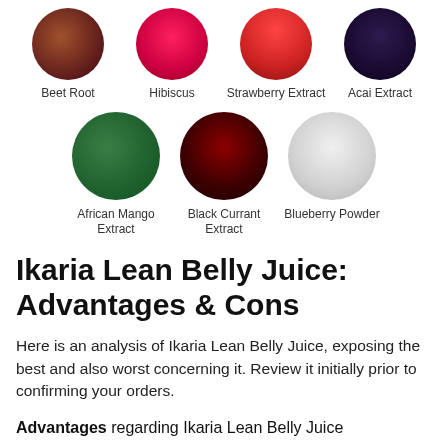[Figure (illustration): Row of circular food photos: Beet Root, Hibiscus, Strawberry Extract, Acai Extract]
Beet Root   Hibiscus   Strawberry Extract   Acai Extract
[Figure (illustration): Row of circular food photos: African Mango Extract, Black Currant Extract, Blueberry Powder]
African Mango Extract   Black Currant Extract   Blueberry Powder
Ikaria Lean Belly Juice: Advantages & Cons
Here is an analysis of Ikaria Lean Belly Juice, exposing the best and also worst concerning it. Review it initially prior to confirming your orders.
Advantages regarding Ikaria Lean Belly Juice